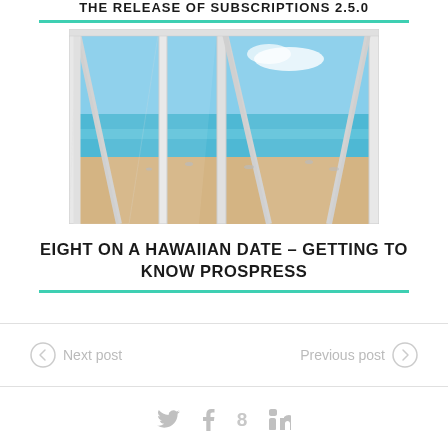THE RELEASE OF SUBSCRIPTIONS 2.5.0
[Figure (photo): Beach scene viewed through open folding glass doors/windows, showing sandy beach and turquoise ocean with people on the beach]
EIGHT ON A HAWAIIAN DATE – GETTING TO KNOW PROSPRESS
Next post
Previous post
[Figure (infographic): Social media sharing icons: Twitter, Facebook, Google+, LinkedIn]